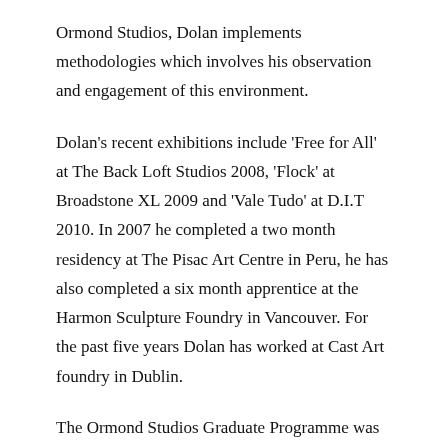Ormond Studios, Dolan implements methodologies which involves his observation and engagement of this environment.
Dolan's recent exhibitions include 'Free for All' at The Back Loft Studios 2008, 'Flock' at Broadstone XL 2009 and 'Vale Tudo' at D.I.T 2010. In 2007 he completed a two month residency at The Pisac Art Centre in Peru, he has also completed a six month apprentice at the Harmon Sculpture Foundry in Vancouver. For the past five years Dolan has worked at Cast Art foundry in Dublin.
The Ormond Studios Graduate Programme was made possible by the members of Ormond Studios and the financial support of The Arts Council.